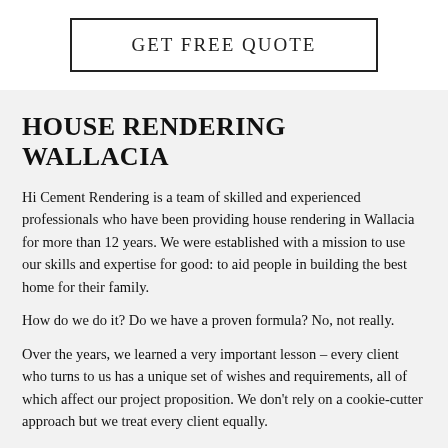GET FREE QUOTE
HOUSE RENDERING WALLACIA
Hi Cement Rendering is a team of skilled and experienced professionals who have been providing house rendering in Wallacia for more than 12 years. We were established with a mission to use our skills and expertise for good: to aid people in building the best home for their family.
How do we do it? Do we have a proven formula? No, not really.
Over the years, we learned a very important lesson – every client who turns to us has a unique set of wishes and requirements, all of which affect our project proposition. We don't rely on a cookie-cutter approach but we treat every client equally.